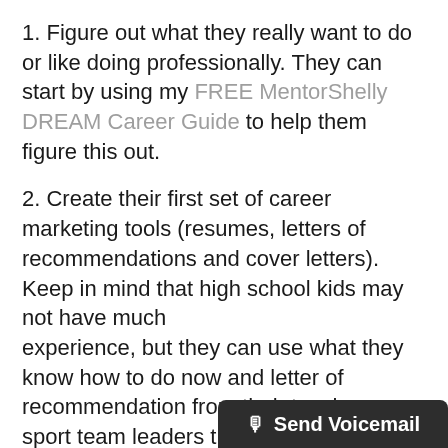1. Figure out what they really want to do or like doing professionally. They can start by using my FREE MentorShelly DREAM Career Guide to help them figure this out.
2. Create their first set of career marketing tools (resumes, letters of recommendations and cover letters). Keep in mind that high school kids may not have much experience, but they can use what they know how to do now and letter of recommendation from their teachers, sport team leaders they may be involved with in school or community or from volunteer group leaders for activities they are involved. If your kids already have some of these career tools and need to review them, MentorShelly can help by offering Career Tools Review Service to assure the tools are working for you as a parent in environment.